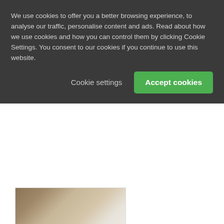We use cookies to offer you a better browsing experience, to analyse our traffic, personalise content and ads. Read about how we use cookies and how you can control them by clicking Cookie Settings. You consent to our cookies if you continue to use this website.
Cookie settings
Accept cookies
[Figure (photo): Photo of a person's shoe/heel near a floor, showing part of a chair leg, in an interior setting with light carpet flooring.]
LINES 654
EVEN MORE SECURITY FOR YOUR GLASS DOOR?
Both toughened safety glass (TSG) and laminated safety glass